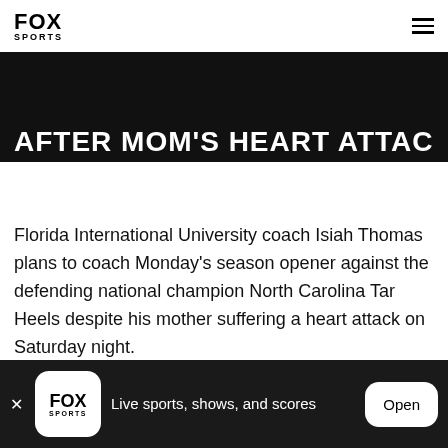FOX SPORTS
AFTER MOM'S HEART ATTACK
BY FOXSPORTS · NOVEMBER 9, 2009
SHARE
Florida International University coach Isiah Thomas plans to coach Monday's season opener against the defending national champion North Carolina Tar Heels despite his mother suffering a heart attack on Saturday night.
Live sports, shows, and scores